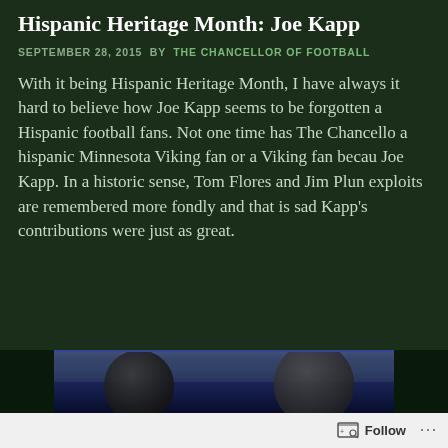Hispanic Heritage Month: Joe Kapp
SEPTEMBER 28, 2015 BY THE CHANCELLOR OF FOOTBALL
With it being Hispanic Heritage Month, I have always it hard to believe how Joe Kapp seems to be forgotten a Hispanic football fans. Not one time has The Chancello a hispanic Minnesota Viking fan or a Viking fan becau Joe Kapp. In a historic sense, Tom Flores and Jim Plun exploits are remembered more fondly and that is sad Kapp's contributions were just as great.
[Figure (photo): Football players wearing Minnesota Vikings helmets on field with blurred crowd in background]
Follow